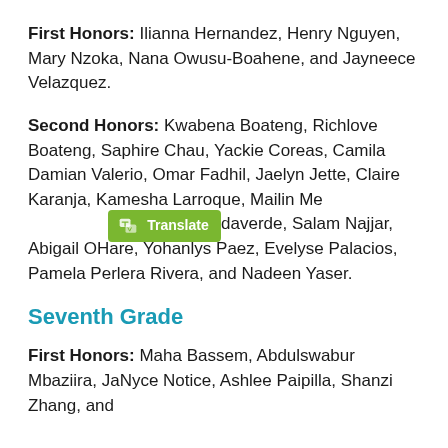First Honors: Ilianna Hernandez, Henry Nguyen, Mary Nzoka, Nana Owusu-Boahene, and Jayneece Velazquez.
Second Honors: Kwabena Boateng, Richlove Boateng, Saphire Chau, Yackie Coreas, Camila Damian Valerio, Omar Fadhil, Jaelyn Jette, Claire Karanja, Kamesha Larroque, Mailin Me Landaverde, Salam Najjar, Abigail OHare, Yohanlys Paez, Evelyse Palacios, Pamela Perlera Rivera, and Nadeen Yaser.
Seventh Grade
First Honors: Maha Bassem, Abdulswabur Mbaziira, JaNyce Notice, Ashlee Paipilla, Shanzi Zhang, and